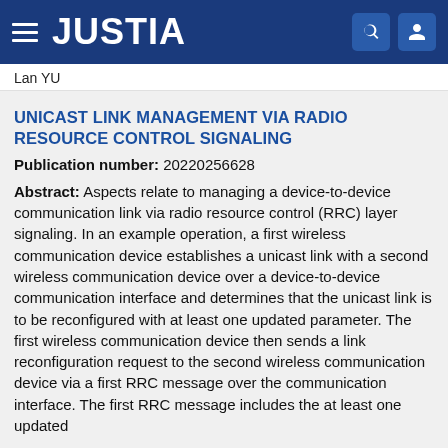JUSTIA
Lan YU
UNICAST LINK MANAGEMENT VIA RADIO RESOURCE CONTROL SIGNALING
Publication number: 20220256628
Abstract: Aspects relate to managing a device-to-device communication link via radio resource control (RRC) layer signaling. In an example operation, a first wireless communication device establishes a unicast link with a second wireless communication device over a device-to-device communication interface and determines that the unicast link is to be reconfigured with at least one updated parameter. The first wireless communication device then sends a link reconfiguration request to the second wireless communication device via a first RRC message over the communication interface. The first RRC message includes the at least one updated